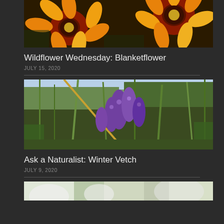[Figure (photo): Close-up photo of orange and yellow blanketflowers (Gaillardia) with dark red centers against a dark background]
Wildflower Wednesday: Blanketflower
JULY 15, 2020
[Figure (photo): Photo of purple winter vetch flowers (Vicia villosa) growing in a green field meadow]
Ask a Naturalist: Winter Vetch
JULY 9, 2020
[Figure (photo): Partially visible photo at bottom of page, appears to show white flowers or foliage]